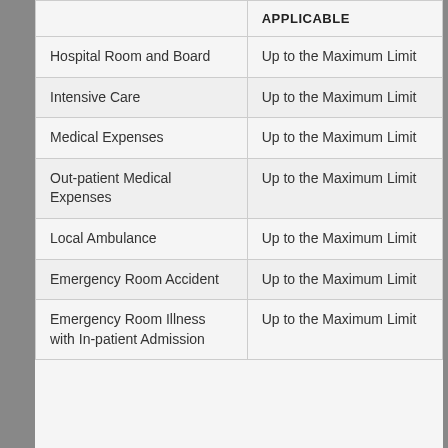|  | APPLICABLE |
| --- | --- |
| Hospital Room and Board | Up to the Maximum Limit |
| Intensive Care | Up to the Maximum Limit |
| Medical Expenses | Up to the Maximum Limit |
| Out-patient Medical Expenses | Up to the Maximum Limit |
| Local Ambulance | Up to the Maximum Limit |
| Emergency Room Accident | Up to the Maximum Limit |
| Emergency Room Illness with In-patient Admission | Up to the Maximum Limit |